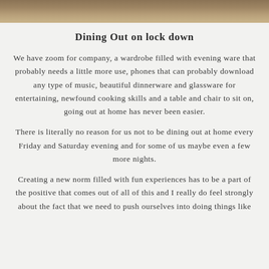[Figure (photo): Decorative image strip at top of page showing a warm-toned dining or interior scene]
Dining Out on lock down
We have zoom for company, a wardrobe filled with evening ware that probably needs a little more use, phones that can probably download any type of music, beautiful dinnerware and glassware for entertaining, newfound cooking skills and a table and chair to sit on, going out at home has never been easier.
There is literally no reason for us not to be dining out at home every Friday and Saturday evening and for some of us maybe even a few more nights.
Creating a new norm filled with fun experiences has to be a part of the positive that comes out of all of this and I really do feel strongly about the fact that we need to push ourselves into doing things like